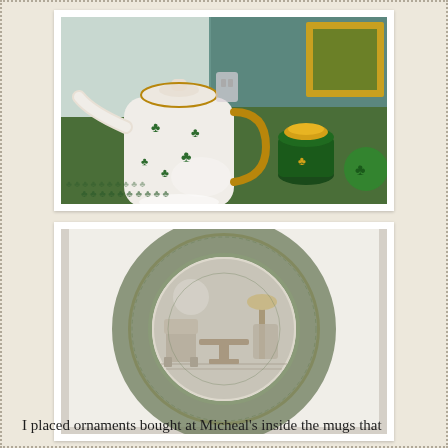[Figure (photo): Photo of a white porcelain teapot decorated with green shamrocks and gold trim, surrounded by green Irish-themed decorations including a dark green jar with coins, green glass shamrock ornament, and a gold-framed piece, on a white surface with shamrock tablecloth.]
[Figure (photo): Photo of a decorative plate with a green and white design. The plate has an ornate green embossed border and a central scene depicting a Victorian-style room interior with furniture, rendered in green transfer print on white ceramic.]
I placed ornaments bought at Micheal's inside the mugs that